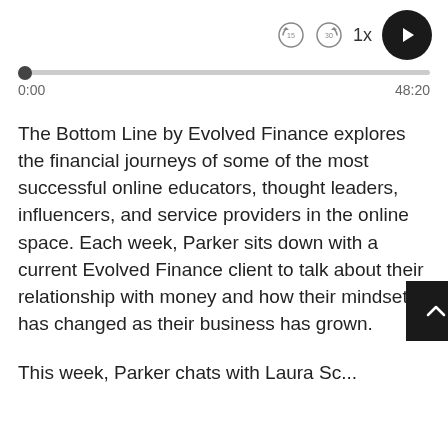[Figure (screenshot): Podcast audio player UI showing rewind 15s icon, skip 30s icon, 1x speed label, and circular play button in dark/black]
[Figure (other): Audio progress bar at 0:00 out of 48:20 with a dot at the start and a grey filled bar]
The Bottom Line by Evolved Finance explores the financial journeys of some of the most successful online educators, thought leaders, influencers, and service providers in the online space. Each week, Parker sits down with a current Evolved Finance client to talk about their relationship with money and how their mindset has changed as their business has grown.
This week, Parker chats with Laura Sc...